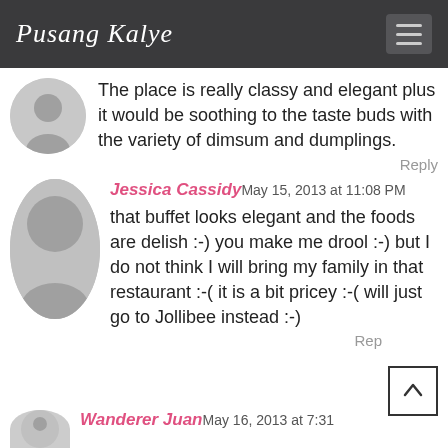Pusang Kalye
The place is really classy and elegant plus it would be soothing to the taste buds with the variety of dimsum and dumplings.
Reply
Jessica Cassidy May 15, 2013 at 11:08 PM
that buffet looks elegant and the foods are delish :-) you make me drool :-) but I do not think I will bring my family in that restaurant :-( it is a bit pricey :-( will just go to Jollibee instead :-)
Reply
Wanderer Juan May 16, 2013 at 7:31